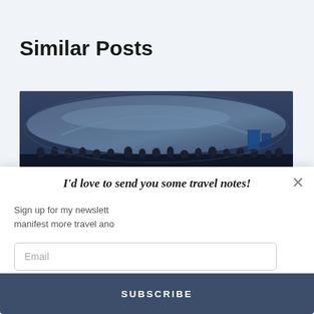Similar Posts
[Figure (photo): Panoramic photo of a large reflective bean-shaped sculpture (Cloud Gate) in Chicago with crowds of people underneath, tinted in dark blue tones.]
I'd love to send you some travel notes!
Sign up for my newslett manifest more travel and
Email
Name
SUBSCRIBE